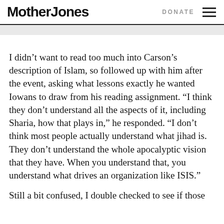Mother Jones  DONATE
I didn’t want to read too much into Carson’s description of Islam, so followed up with him after the event, asking what lessons exactly he wanted Iowans to draw from his reading assignment. “I think they don’t understand all the aspects of it, including Sharia, how that plays in,” he responded. “I don’t think most people actually understand what jihad is. They don’t understand the whole apocalyptic vision that they have. When you understand that, you understand what drives an organization like ISIS.”
Still a bit confused, I double checked to see if those